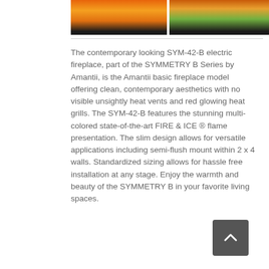[Figure (photo): Two side-by-side photos of an electric fireplace showing orange and green flame effects against a dark background]
The contemporary looking SYM-42-B electric fireplace, part of the SYMMETRY B Series by Amantii, is the Amantii basic fireplace model offering clean, contemporary aesthetics with no visible unsightly heat vents and red glowing heat grills. The SYM-42-B features the stunning multi-colored state-of-the-art FIRE & ICE ® flame presentation. The slim design allows for versatile applications including semi-flush mount within 2 x 4 walls. Standardized sizing allows for hassle free installation at any stage. Enjoy the warmth and beauty of the SYMMETRY B in your favorite living spaces.